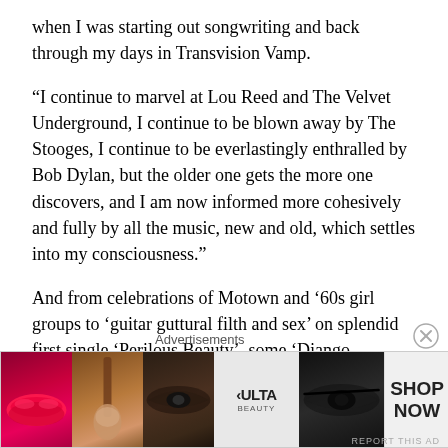when I was starting out songwriting and back through my days in Transvision Vamp.
“I continue to marvel at Lou Reed and The Velvet Underground, I continue to be blown away by The Stooges, I continue to be everlastingly enthralled by Bob Dylan, but the older one gets the more one discovers, and I am now informed more cohesively and fully by all the music, new and old, which settles into my consciousness.”
And from celebrations of Motown and ‘60s girl groups to ‘guitar guttural filth and sex’ on splendid first single ‘Perilous Beauty’, some ‘Django Reinhardt whimsy’ and a little speed punk, there’s plenty to savour.
Advertisements
[Figure (photo): Advertisement banner for ULTA beauty with cosmetic-themed images (lips, makeup brush, eye makeup) and SHOP NOW call to action]